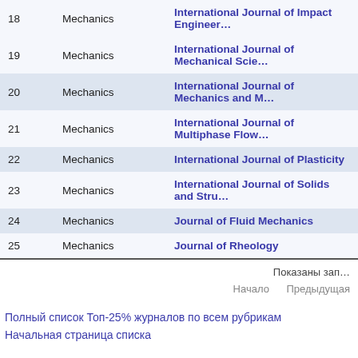| # | Category | Journal |
| --- | --- | --- |
| 18 | Mechanics | International Journal of Impact Engineer… |
| 19 | Mechanics | International Journal of Mechanical Scie… |
| 20 | Mechanics | International Journal of Mechanics and M… |
| 21 | Mechanics | International Journal of Multiphase Flow… |
| 22 | Mechanics | International Journal of Plasticity |
| 23 | Mechanics | International Journal of Solids and Stru… |
| 24 | Mechanics | Journal of Fluid Mechanics |
| 25 | Mechanics | Journal of Rheology |
Показаны зап…
Начало    Предыдущая
Полный список Топ-25% журналов по всем рубрикам
Начальная страница списка